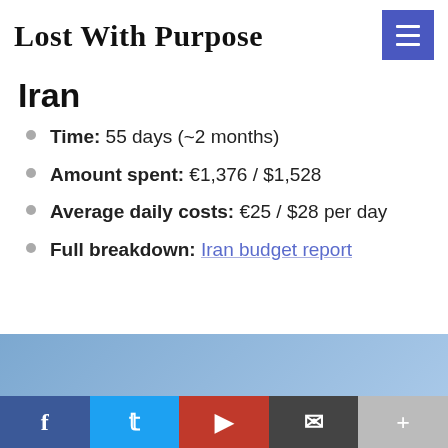Lost With Purpose
Iran
Time: 55 days (~2 months)
Amount spent: €1,376 / $1,528
Average daily costs: €25 / $28 per day
Full breakdown: Iran budget report
[Figure (other): Light blue banner image placeholder]
Social share bar: Facebook, Twitter, Flipboard, Email, More